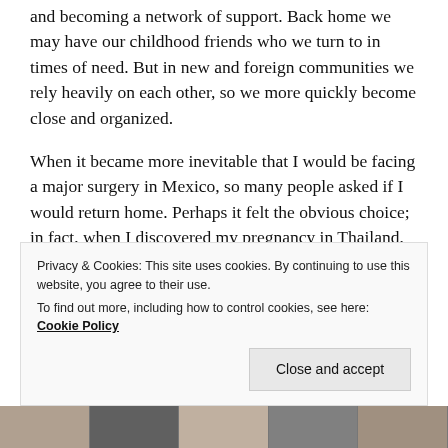and becoming a network of support. Back home we may have our childhood friends who we turn to in times of need. But in new and foreign communities we rely heavily on each other, so we more quickly become close and organized.
When it became more inevitable that I would be facing a major surgery in Mexico, so many people asked if I would return home. Perhaps it felt the obvious choice; in fact, when I discovered my pregnancy in Thailand, there was little question I would return home to Santa Fe. But with my mother now gone, my chosen family had grown elsewhere. I've had to choose my new family every day.
Privacy & Cookies: This site uses cookies. By continuing to use this website, you agree to their use.
To find out more, including how to control cookies, see here: Cookie Policy
Close and accept
[Figure (photo): A horizontal strip of thumbnail photos at the bottom of the page.]